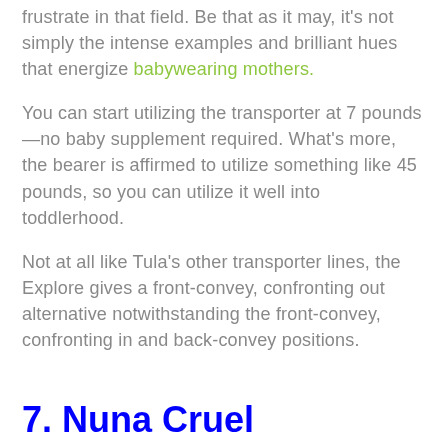frustrate in that field. Be that as it may, it's not simply the intense examples and brilliant hues that energize babywearing mothers.
You can start utilizing the transporter at 7 pounds—no baby supplement required. What's more, the bearer is affirmed to utilize something like 45 pounds, so you can utilize it well into toddlerhood.
Not at all like Tula's other transporter lines, the Explore gives a front-convey, confronting out alternative notwithstanding the front-convey, confronting in and back-convey positions.
7. Nuna Cruel
Nuna's first infant bearer is similarly as creative and smooth as you'd anticipate